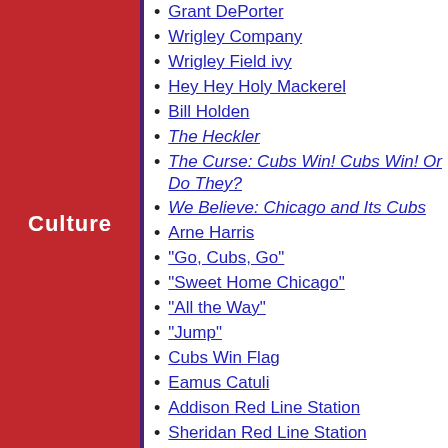Culture
Grant DePorter
Wrigley Company
Wrigley Field ivy
Hey Hey Holy Mackerel
Bill Holden
The Heckler
The Curse: Cubs Win! Cubs Win! Or Do They?
We Believe: Chicago and Its Cubs
Arne Harris
"Go, Cubs, Go"
"Sweet Home Chicago"
"All the Way"
"Jump"
Cubs Win Flag
Eamus Catuli
Addison Red Line Station
Sheridan Red Line Station
Clark Street
Addison Street
The Winning Team
Elmer, the Great
Ferris Bueller's Day Off
Rookie of the Year